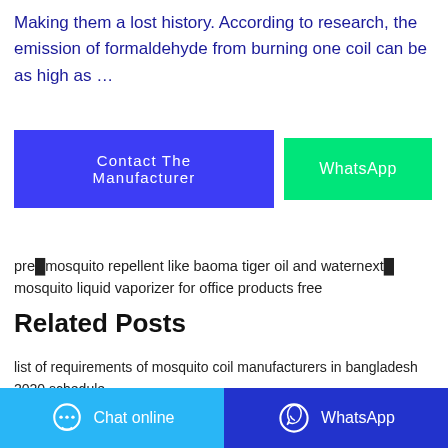Making them a lost history. According to research, the emission of formaldehyde from burning one coil can be as high as …
[Figure (other): Two buttons side by side: 'Contact The Manufacturer' (blue/indigo) and 'WhatsApp' (green)]
pre🔴mosquito repellent like baoma tiger oil and waternext🔴mosquito liquid vaporizer for office products free
Related Posts
list of requirements of mosquito coil manufacturers in bangladesh 2020 schedule
mosquito coil new name choose your pet free
eagle max jumbo mosquito coil rajbari district dealers
Chat online   WhatsApp